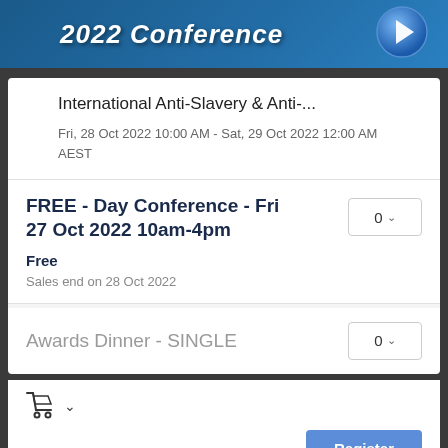[Figure (illustration): Dark teal/blue banner with bold white italic text '2022 Conference' and a blue circular arrow logo on the right]
International Anti-Slavery & Anti-...
Fri, 28 Oct 2022 10:00 AM - Sat, 29 Oct 2022 12:00 AM
AEST
FREE - Day Conference - Fri 27 Oct 2022 10am-4pm
Free
Sales end on 28 Oct 2022
Awards Dinner - SINGLE